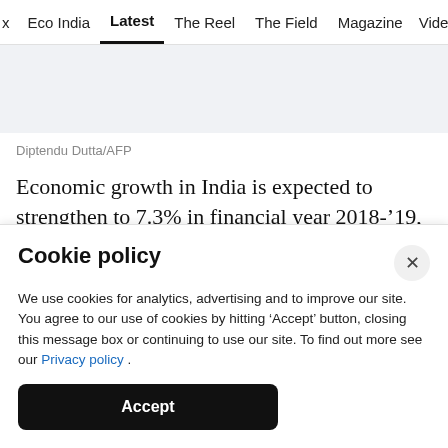x  Eco India  Latest  The Reel  The Field  Magazine  Vide
Diptendu Dutta/AFP
Economic growth in India is expected to strengthen to 7.3% in financial year 2018-’19, backed by strong performance in construction, manufacturing and
Cookie policy
We use cookies for analytics, advertising and to improve our site. You agree to our use of cookies by hitting ‘Accept’ button, closing this message box or continuing to use our site. To find out more see our Privacy policy .
Accept